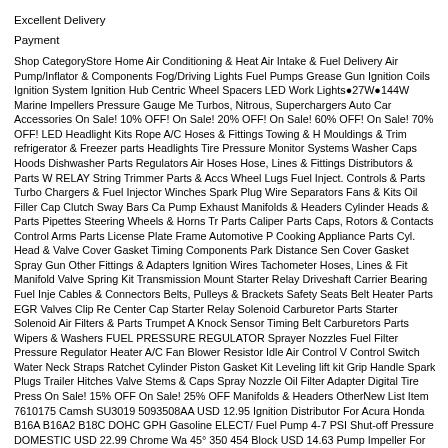Excellent Delivery
Payment
Shop CategoryStore Home Air Conditioning & Heat Air Intake & Fuel Delivery Air Pump/Inflator & Components Fog/Driving Lights Fuel Pumps Grease Gun Ignition Coils Ignition System Ignition Hub Centric Wheel Spacers LED Work Lights●27W●144W Marine Impellers Pressure Gauge Me Turbos, Nitrous, Superchargers Auto Car Accessories On Sale! 10% OFF! On Sale! 20% OFF! On Sale! 60% OFF! On Sale! 70% OFF! LED Headlight Kits Rope A/C Hoses & Fittings Towing & H Mouldings & Trim refrigerator & Freezer parts Headlights Tire Pressure Monitor Systems Washer Caps Hoods Dishwasher Parts Regulators Air Hoses Hose, Lines & Fittings Distributors & Parts W RELAY String Trimmer Parts & Accs Wheel Lugs Fuel Inject. Controls & Parts Turbo Chargers & Fuel Injector Winches Spark Plug Wire Separators Fans & Kits Oil Filler Cap Clutch Sway Bars Ca Pump Exhaust Manifolds & Headers Cylinder Heads & Parts Pipettes Steering Wheels & Horns Tr Parts Caliper Parts Caps, Rotors & Contacts Control Arms Parts License Plate Frame Automotive P Cooking Appliance Parts Cyl. Head & Valve Cover Gasket Timing Components Park Distance Sen Cover Gasket Spray Gun Other Fittings & Adapters Ignition Wires Tachometer Hoses, Lines & Fit Manifold Valve Spring Kit Transmission Mount Starter Relay Driveshaft Carrier Bearing Fuel Inje Cables & Connectors Belts, Pulleys & Brackets Safety Seats Belt Heater Parts EGR Valves Clip Re Center Cap Starter Relay Solenoid Carburetor Parts Starter Solenoid Air Filters & Parts Trumpet A Knock Sensor Timing Belt Carburetors Parts Wipers & Washers FUEL PRESSURE REGULATOR Sprayer Nozzles Fuel Filter Pressure Regulator Heater A/C Fan Blower Resistor Idle Air Control V Control Switch Water Neck Straps Ratchet Cylinder Piston Gasket Kit Leveling lift kit Grip Handle Spark Plugs Trailer Hitches Valve Stems & Caps Spray Nozzle Oil Filter Adapter Digital Tire Press On Sale! 15% OFF On Sale! 25% OFF Manifolds & Headers OtherNew List Item 7610175 Camsh SU3019 5093508AA USD 12.95 Ignition Distributor For Acura Honda B16A B16A2 B18C DOHC GPH Gasoline ELECT/ Fuel Pump 4-7 PSI Shut-off Pressure DOMESTIC USD 22.99 Chrome Wa 45° 350 454 Block USD 14.63 Pump Impeller For Indmar Monsoon S685007 685007 Supra Moon Ignition Coil Pack For Ford F150 Expedition 2000 2001 2002-2004 4.6/5.4L USD 37.59 2000 200 4.6/5.4L V8 Triton USD 34.59 2X Keyless Entry Car Remote Control Key Fob Transmitter Alarm Entry Remote Key Fob for Ford 1998-2016 F-150 F-250 F-350 USD 6.99 2 Keyless Entry Remote USD 6.99 2 Keyless Entry Remote Control Car Key Fob Clicker Transmitter For Ford Explorer
Condition: 100% Brand New
2 set of new remote key for your replacement.
Comes with Battery & Circuit Board inside.